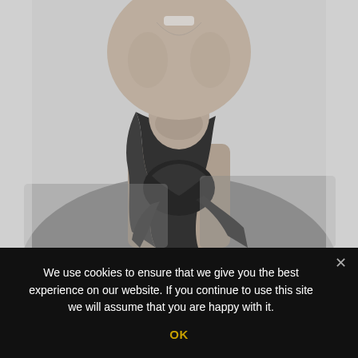[Figure (photo): Black and white portrait photo of a man smiling, wearing a grey shirt and a dark silk scarf tied loosely around his neck. Only the lower face, neck, and upper torso are visible.]
We use cookies to ensure that we give you the best experience on our website. If you continue to use this site we will assume that you are happy with it.
OK